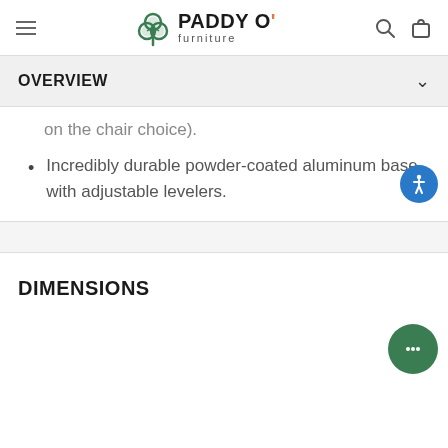PADDY O' furniture
OVERVIEW
on the chair choice).
Incredibly durable powder-coated aluminum base with adjustable levelers.
DIMENSIONS